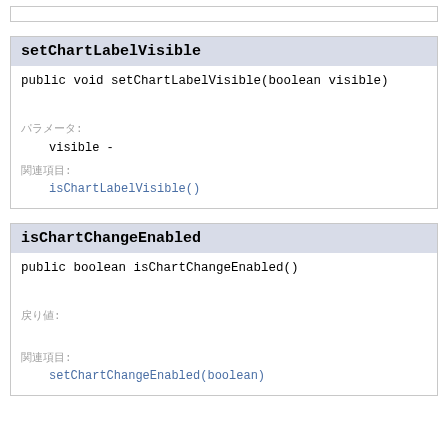setChartLabelVisible
public void setChartLabelVisible(boolean visible)
[description placeholder text]
パラメータ:
visible - [parameter description]
関連項目:
isChartLabelVisible()
isChartChangeEnabled
public boolean isChartChangeEnabled()
[description placeholder text]
戻り値:
[return value description]
関連項目:
setChartChangeEnabled(boolean)